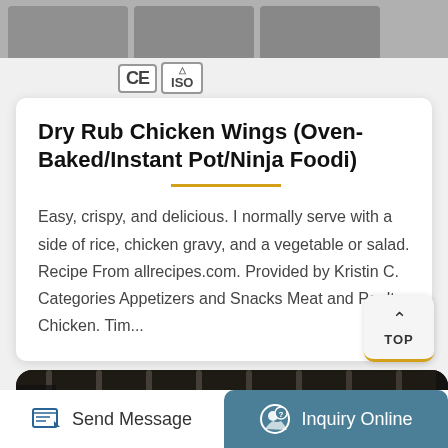[Figure (photo): Top strip with gray product image thumbnails partially visible at top of page]
[Figure (logo): CE certification badge and ISO badge shown side by side]
Dry Rub Chicken Wings (Oven-Baked/Instant Pot/Ninja Foodi)
Easy, crispy, and delicious. I normally serve with a side of rice, chicken gravy, and a vegetable or salad. Recipe From allrecipes.com. Provided by Kristin C. Categories Appetizers and Snacks Meat and Poultry Chicken. Tim...
[Figure (photo): Close-up photo of an oven rack with metallic grill grates, dark background]
Send Message   Inquiry Online